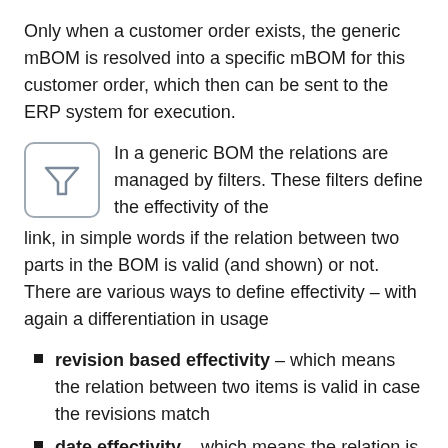Only when a customer order exists, the generic mBOM is resolved into a specific mBOM for this customer order, which then can be sent to the ERP system for execution.
[Figure (illustration): Filter icon: a funnel/filter symbol inside a rounded rectangle border]
In a generic BOM the relations are managed by filters. These filters define the effectivity of the link, in simple words if the relation between two parts in the BOM is valid (and shown) or not. There are various ways to define effectivity – with again a differentiation in usage
revision based effectivity – which means the relation between two items is valid in case the revisions match
date effectivity – which means the relation is valid during a certain time interval
Both methods are used most of the time for non-